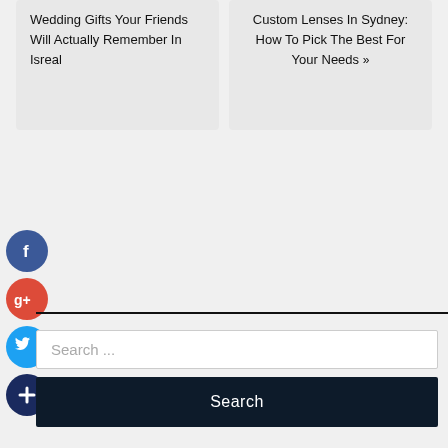Wedding Gifts Your Friends Will Actually Remember In Isreal
Custom Lenses In Sydney: How To Pick The Best For Your Needs »
[Figure (other): Facebook social share icon - blue circle with white letter f]
[Figure (other): Google+ social share icon - red circle with white G+ text]
[Figure (other): Twitter social share icon - blue circle with white bird icon]
[Figure (other): Plus/share social icon - dark navy circle with white plus sign]
Search ...
Search